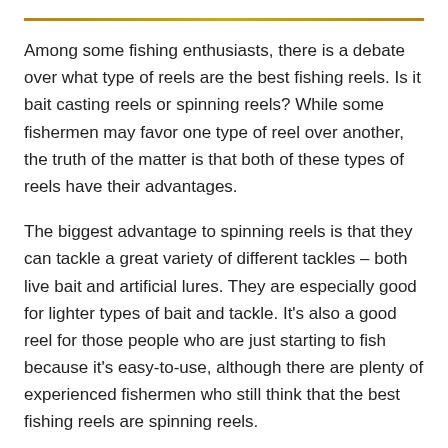Among some fishing enthusiasts, there is a debate over what type of reels are the best fishing reels. Is it bait casting reels or spinning reels? While some fishermen may favor one type of reel over another, the truth of the matter is that both of these types of reels have their advantages.
The biggest advantage to spinning reels is that they can tackle a great variety of different tackles – both live bait and artificial lures. They are especially good for lighter types of bait and tackle. It's also a good reel for those people who are just starting to fish because it's easy-to-use, although there are plenty of experienced fishermen who still think that the best fishing reels are spinning reels.
Of course, a lot depends on how well these types of reels are made and there are some not so good ones on the market